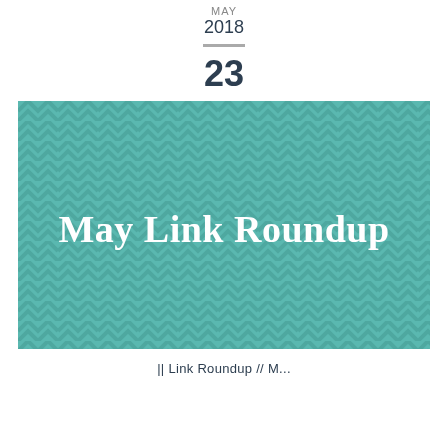MAY
2018
23
[Figure (illustration): Teal chevron zigzag pattern background with bold white serif text reading 'May Link Roundup' centered]
|| Link Roundup // M...